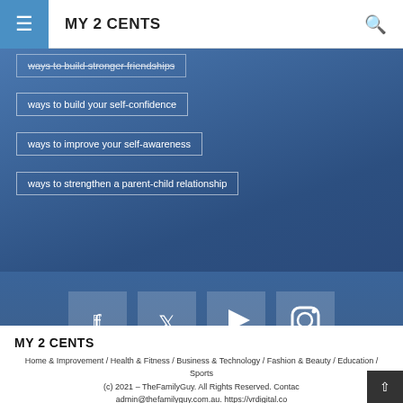MY 2 CENTS
ways to build stronger friendships
ways to build your self-confidence
ways to improve your self-awareness
ways to strengthen a parent-child relationship
[Figure (infographic): Social media icons: Facebook, Twitter, YouTube, Instagram]
MY 2 CENTS
Home & Improvement / Health & Fitness / Business & Technology / Fashion & Beauty / Education / Sports (c) 2021 - TheFamilyGuy. All Rights Reserved. Contact admin@thefamilyguy.com.au. https://vrdigital.co